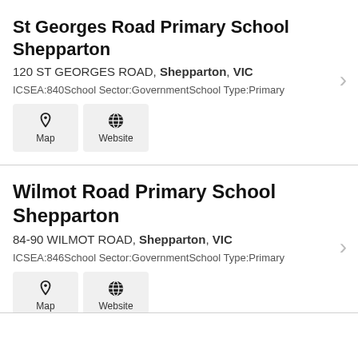St Georges Road Primary School Shepparton
120 ST GEORGES ROAD, Shepparton, VIC
ICSEA:840School Sector:GovernmentSchool Type:Primary
Wilmot Road Primary School Shepparton
84-90 WILMOT ROAD, Shepparton, VIC
ICSEA:846School Sector:GovernmentSchool Type:Primary